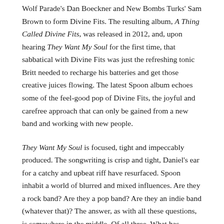Wolf Parade's Dan Boeckner and New Bombs Turks' Sam Brown to form Divine Fits. The resulting album, A Thing Called Divine Fits, was released in 2012, and, upon hearing They Want My Soul for the first time, that sabbatical with Divine Fits was just the refreshing tonic Britt needed to recharge his batteries and get those creative juices flowing. The latest Spoon album echoes some of the feel-good pop of Divine Fits, the joyful and carefree approach that can only be gained from a new band and working with new people.
They Want My Soul is focused, tight and impeccably produced. The songwriting is crisp and tight, Daniel's ear for a catchy and upbeat riff have resurfaced. Spoon inhabit a world of blurred and mixed influences. Are they a rock band? Are they a pop band? Are they an indie band (whatever that)? The answer, as with all these questions, is somewhere in the middle. Of all three. What has remained throughout their career is the beautifully production of the records. After Daniel's previous experience with production, they've brought in uber producers Dave Fridmann and Joe Chiccarelli to work